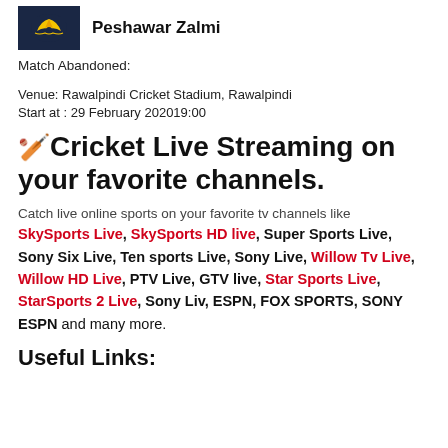[Figure (logo): Peshawar Zalmi team logo on dark navy background with yellow emblem]
Peshawar Zalmi
Match Abandoned:
Venue: Rawalpindi Cricket Stadium, Rawalpindi
Start at : 29 February 202019:00
🏏Cricket Live Streaming on your favorite channels.
Catch live online sports on your favorite tv channels like SkySports Live, SkySports HD live, Super Sports Live, Sony Six Live, Ten sports Live, Sony Live, Willow Tv Live, Willow HD Live, PTV Live, GTV live, Star Sports Live, StarSports 2 Live, Sony Liv, ESPN, FOX SPORTS, SONY ESPN and many more.
Useful Links: